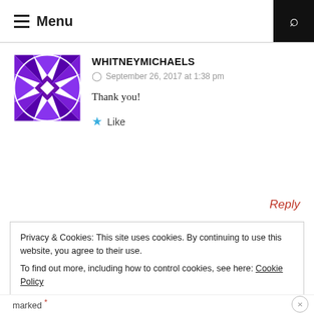Menu
WHITNEYMICHAELS
September 26, 2017 at 1:38 pm
Thank you!
★ Like
Reply
Privacy & Cookies: This site uses cookies. By continuing to use this website, you agree to their use.
To find out more, including how to control cookies, see here: Cookie Policy
Close and accept
marked *